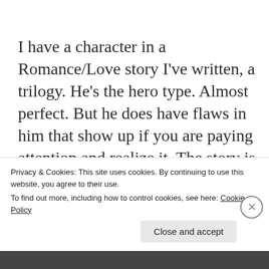I have a character in a Romance/Love story I've written, a trilogy. He's the hero type. Almost perfect. But he does have flaws in him that show up if you are paying attention and realize it. The story is told from the viewpoint and voice of the woman. We see and hear what she does, but we interpret what she sees and hears differently. His flaws aren't exactly
Privacy & Cookies: This site uses cookies. By continuing to use this website, you agree to their use. To find out more, including how to control cookies, see here: Cookie Policy
Close and accept